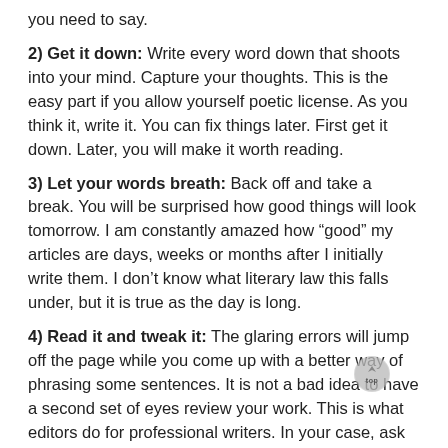you need to say.
2) Get it down: Write every word down that shoots into your mind. Capture your thoughts. This is the easy part if you allow yourself poetic license. As you think it, write it. You can fix things later. First get it down. Later, you will make it worth reading.
3) Let your words breath: Back off and take a break. You will be surprised how good things will look tomorrow. I am constantly amazed how “good” my articles are days, weeks or months after I initially write them. I don’t know what literary law this falls under, but it is true as the day is long.
4) Read it and tweak it: The glaring errors will jump off the page while you come up with a better way of phrasing some sentences. It is not a bad idea to have a second set of eyes review your work. This is what editors do for professional writers. In your case, ask your friend, spouse or workmate to take a look at your work. (I am not inferring that your friend cannot be your spouse and vice versa.)